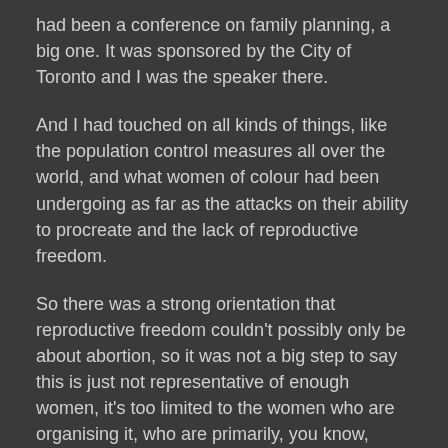had been a conference on family planning, a big one. It was sponsored by the City of Toronto and I was the speaker there.
And I had touched on all kinds of things, like the population control measures all over the world, and what women of colour had been undergoing as far as the attacks on their ability to procreate and the lack of reproductive freedom.
So there was a strong orientation that reproductive freedom couldn't possibly only be about abortion, so it was not a big step to say this is just not representative of enough women, it's too limited to the women who are organising it, who are primarily, you know, white middle-class.